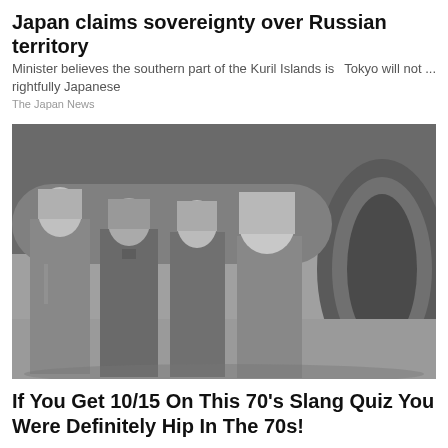Japan claims sovereignty over Russian territory
Minister believes the southern part of the Kuril Islands is rightfully Japanese    Tokyo will not ...
The Japan News
[Figure (photo): Black and white photo of four people with long hair standing in front of a large aircraft engine on a tarmac.]
If You Get 10/15 On This 70's Slang Quiz You Were Definitely Hip In The 70s!